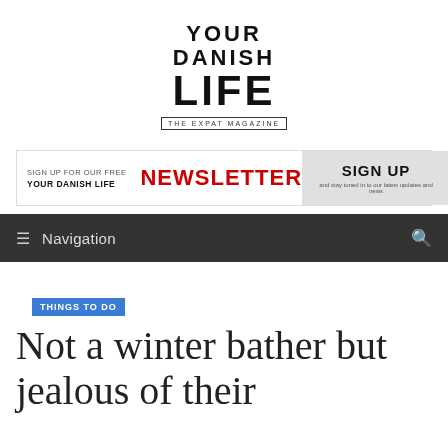[Figure (logo): Your Danish Life - The Expat Magazine logo, bold black stacked text]
[Figure (infographic): Newsletter sign-up banner: 'SIGN UP FOR OUR FREE YOUR DANISH LIFE NEWSLETTER' with red text, and a grey SIGN UP button with subtext 'and stay tuned in to our latest updates and news']
≡ Navigation
THINGS TO DO
Not a winter bather but jealous of their